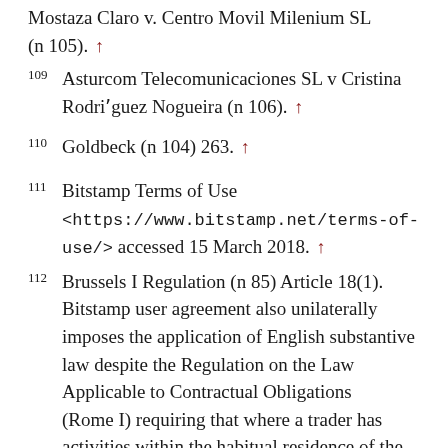Mostaza Claro v. Centro Movil Milenium SL (n 105). ↑
109 Asturcom Telecomunicaciones SL v Cristina Rodri'guez Nogueira (n 106). ↑
110 Goldbeck (n 104) 263. ↑
111 Bitstamp Terms of Use <https://www.bitstamp.net/terms-of-use/> accessed 15 March 2018. ↑
112 Brussels I Regulation (n 85) Article 18(1). Bitstamp user agreement also unilaterally imposes the application of English substantive law despite the Regulation on the Law Applicable to Contractual Obligations (Rome I) requiring that where a trader has activities within the habitual residence of the consumer, the applicable law